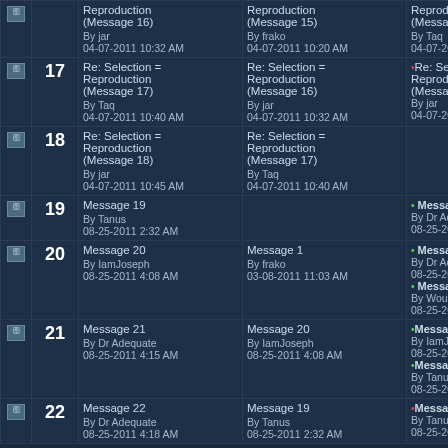| Icon | Num | Col1 | Col2 | Col3 |
| --- | --- | --- | --- | --- |
| [icon] | 17 | Re: Selection = Reproduction (Message 17)
By Taq
04-07-2011 10:40 AM | Re: Selection = Reproduction (Message 16)
By jar
04-07-2011 10:32 AM | Re: Selection = Reproduction (Message 18)
By jar
04-07-2011 10:45 AM |
| [icon] | 18 | Re: Selection = Reproduction (Message 18)
By jar
04-07-2011 10:45 AM | Re: Selection = Reproduction (Message 17)
By Taq
04-07-2011 10:40 AM |  |
| [icon] | 19 | Message 19
By Tanus
08-25-2011 2:32 AM |  | • Message 22
By Dr Adequate
08-25-2011 4:18 AM |
| [icon] | 20 | Message 20
By IamJoseph
08-25-2011 4:08 AM | Message 1
By frako
03-08-2011 11:03 AM | • Message 21
By Dr Adequate
08-25-2011 4:15 AM
• Message 23
By Wounded King
08-25-2011 4:21 AM |
| [icon] | 21 | Message 21
By Dr Adequate
08-25-2011 4:15 AM | Message 20
By IamJoseph
08-25-2011 4:08 AM | •Message 24
By IamJoseph
08-25-2011 4:28 AM
•Message 44
By Tanus
08-25-2011 12:33 PM |
| [icon] | 22 | Message 22
By Dr Adequate
08-25-2011 4:18 AM | Message 19
By Tanus
08-25-2011 2:32 AM | •Message 45
By Tanus
08-25-2011 12:36 AM |